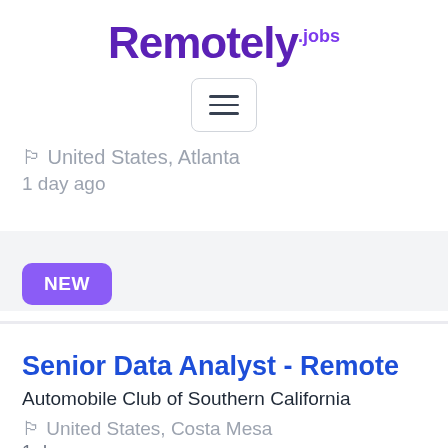Remotely.jobs
[Figure (other): Hamburger menu button with three horizontal lines inside a rounded rectangle border]
🏳️ United States, Atlanta
1 day ago
NEW
Senior Data Analyst - Remote
Automobile Club of Southern California
🏳️ United States, Costa Mesa
1 day ago